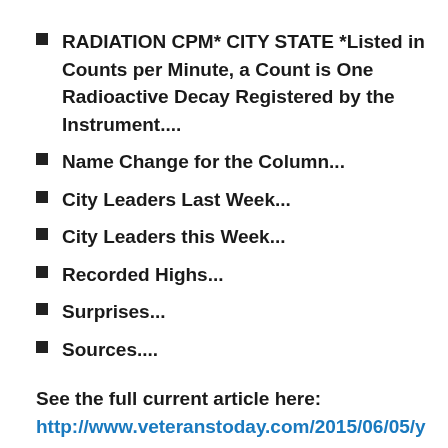RADIATION CPM* CITY STATE  *Listed in Counts per Minute, a Count is One Radioactive Decay Registered by the Instrument....
Name Change for the Column...
City Leaders Last Week...
City Leaders this Week...
Recorded Highs...
Surprises...
Sources....
See the full current article here:
http://www.veteranstoday.com/2015/06/05/your-radiation-this-week-no-10-2/